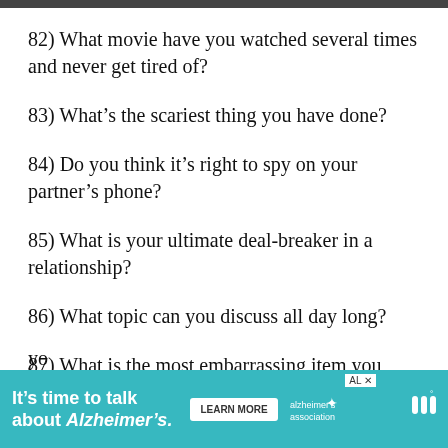82) What movie have you watched several times and never get tired of?
83) What’s the scariest thing you have done?
84) Do you think it’s right to spy on your partner’s phone?
85) What is your ultimate deal-breaker in a relationship?
86) What topic can you discuss all day long?
87) What is the most embarrassing item you keep in yo...
[Figure (other): Advertisement banner: It’s time to talk about Alzheimer’s. with a Learn More button and Alzheimer’s Association logo.]